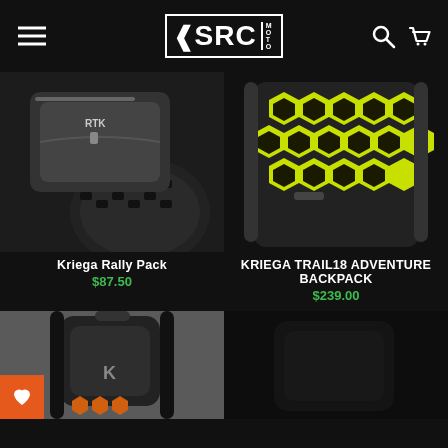[Figure (logo): SRC Moto logo in white on black header, with hamburger menu on left and search/cart icons on right]
[Figure (photo): Close-up photo of Kriega Rally Pack motorcycle bag, black with zipper detail]
[Figure (photo): Photo of Kriega Trail18 Adventure Backpack, black with yellow-green hexagon pattern panels]
Kriega Rally Pack
$87.50
KRIEGA TRAIL18 ADVENTURE BACKPACK
$239.00
[Figure (photo): Partial photo of a black Kriega backpack on grey background with orange hexagon accents, wishlist heart button overlay]
[Figure (photo): Partial dark/black image, product not fully visible]